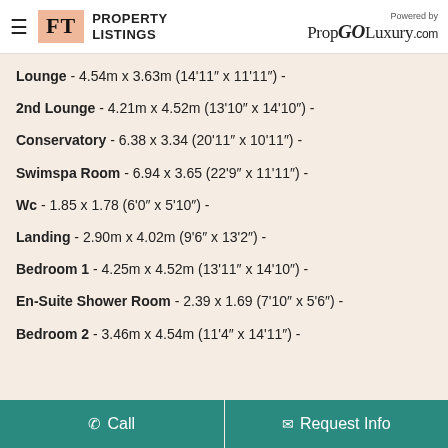FT PROPERTY LISTINGS — Powered by PropGOLuxury.com
Lounge - 4.54m x 3.63m (14'11" x 11'11") -
2nd Lounge - 4.21m x 4.52m (13'10" x 14'10") -
Conservatory - 6.38 x 3.34 (20'11" x 10'11") -
Swimspa Room - 6.94 x 3.65 (22'9" x 11'11") -
Wc - 1.85 x 1.78 (6'0" x 5'10") -
Landing - 2.90m x 4.02m (9'6" x 13'2") -
Bedroom 1 - 4.25m x 4.52m (13'11" x 14'10") -
En-Suite Shower Room - 2.39 x 1.69 (7'10" x 5'6") -
Bedroom 2 - 3.46m x 4.54m (11'4" x 14'11") -
Call | Request Info